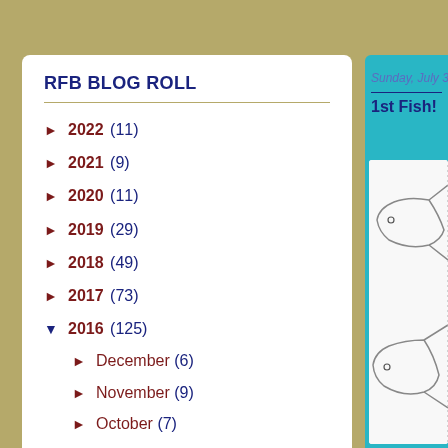RFB BLOG ROLL
► 2022 (11)
► 2021 (9)
► 2020 (11)
► 2019 (29)
► 2018 (49)
► 2017 (73)
▼ 2016 (125)
► December (6)
► November (9)
► October (7)
► September (4)
► August (8)
▼ July (14)
1st Fish!
Sunday, July 31, 2016
1st Fish!
[Figure (photo): Partial view of a fish photo/drawing on white background, showing fish silhouette lines]